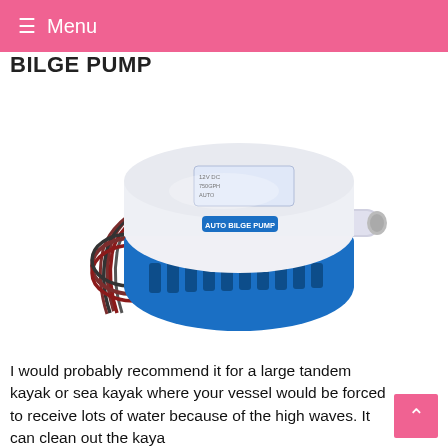Menu
BILGE PUMP
[Figure (photo): An AUTO BILGE PUMP with white top housing and blue bottom housing, with braided electrical wires coming out of the left side and a cylindrical outlet port on the right side.]
I would probably recommend it for a large tandem kayak or sea kayak where your vessel would be forced to receive lots of water because of the high waves. It can clean out the kayak floor in minutes as its powerful operation would highly force the water out...